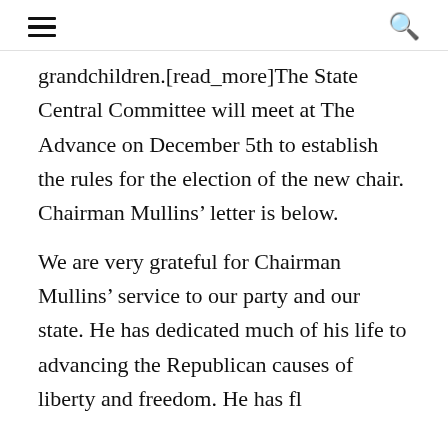≡   🔍
grandchildren.[read_more]The State Central Committee will meet at The Advance on December 5th to establish the rules for the election of the new chair. Chairman Mullins' letter is below.
We are very grateful for Chairman Mullins' service to our party and our state. He has dedicated much of his life to advancing the Republican causes of liberty and freedom. He has fl...